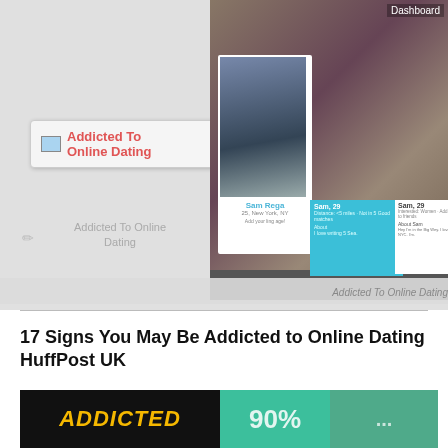[Figure (screenshot): Screenshot of an online dating app (Tinder-like) showing a dating profile named Sam, 29, with multiple profile photo views and a sidebar card labeled 'Addicted To Online Dating']
Addicted To Online Dating
17 Signs You May Be Addicted to Online Dating HuffPost UK
[Figure (screenshot): Bottom image with black background showing 'ADDICTED' text in bold yellow italic letters and teal/green colored sections]